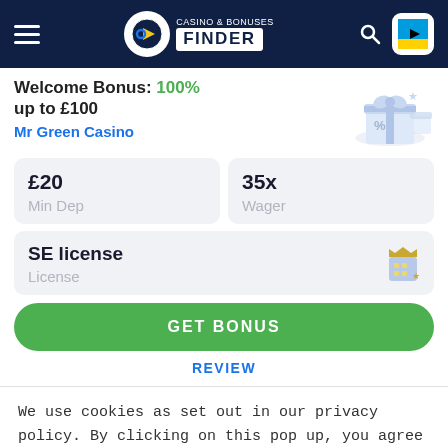Casino & Bonuses Finder
Welcome Bonus: 100% up to £100
Mr Green Casino
| Min Dep | Wager |
| --- | --- |
| £20 | 35x |
SE license
License
GET BONUS
REVIEW
We use cookies as set out in our privacy policy. By clicking on this pop up, you agree to our policies.
Read the privacy policy
It's OK For Me